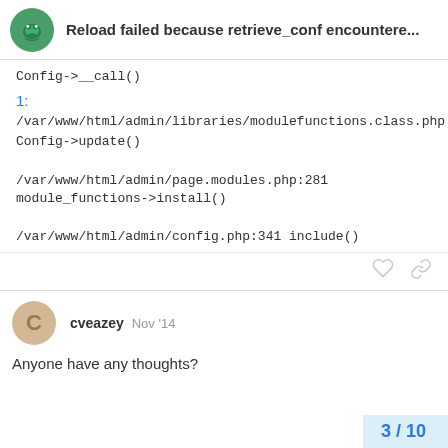Reload failed because retrieve_conf encountere...
Config->__call()
1:
/var/www/html/admin/libraries/modulefunctions.class.php:1837 Config->update()
/var/www/html/admin/page.modules.php:281 module_functions->install()
/var/www/html/admin/config.php:341 include()
cveazey  Nov '14
Anyone have any thoughts?
3 / 10